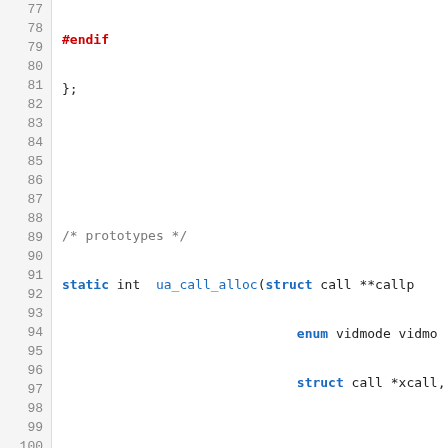Source code listing lines 77-106, C language code snippet with syntax highlighting showing #endif, prototype declarations, exit_handler function, and ua_printf function.